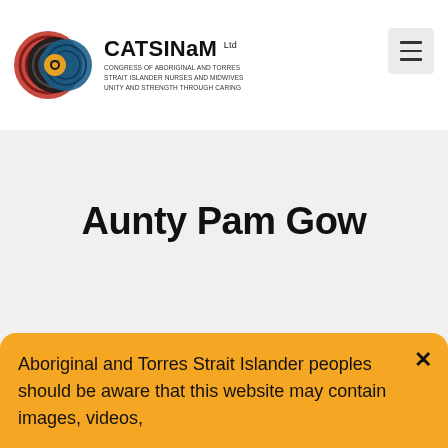[Figure (logo): CATSINaM logo with circular Aboriginal art design in red, black, and blue, with text: CATSINaM Ltd, Congress of Aboriginal and Torres Strait Islander Nurses and Midwives, Unity and Strength Through Caring]
Aunty Pam Gow
Aboriginal and Torres Strait Islander peoples should be aware that this website may contain images, videos,